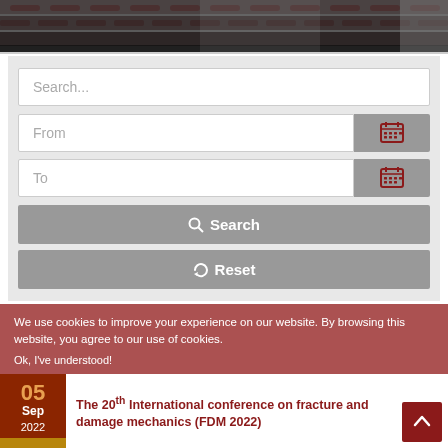[Figure (photo): Partial view of a lecture hall or auditorium with rows of dark theater seats]
[Figure (screenshot): Search form with text input, date range (From/To) with calendar icons, Search and Reset buttons on a light gray background]
We use cookies to improve your experience on our website. By browsing this website, you agree to our use of cookies.
Ok, I've understood!
The 20th International conference on fracture and damage mechanics (FDM 2022)
05 Sep 2022